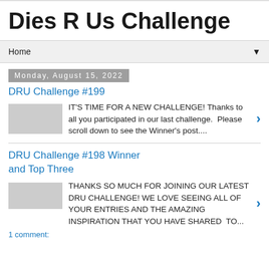Dies R Us Challenge
Home
Monday, August 15, 2022
DRU Challenge #199
IT'S TIME FOR A NEW CHALLENGE! Thanks to all you participated in our last challenge.  Please scroll down to see the Winner's post....
DRU Challenge #198 Winner and Top Three
THANKS SO MUCH FOR JOINING OUR LATEST DRU CHALLENGE! WE LOVE SEEING ALL OF YOUR ENTRIES AND THE AMAZING INSPIRATION THAT YOU HAVE SHARED  TO...
1 comment: